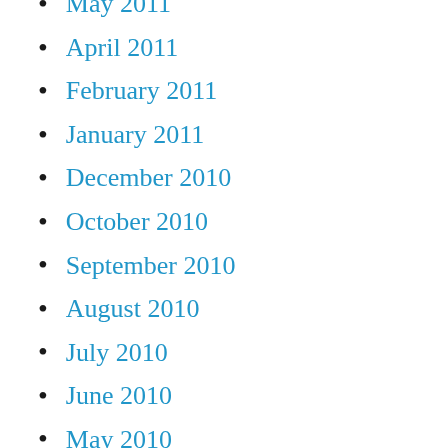May 2011
April 2011
February 2011
January 2011
December 2010
October 2010
September 2010
August 2010
July 2010
June 2010
May 2010
April 2010
March 2010
February 2010
January 2010
December 2009